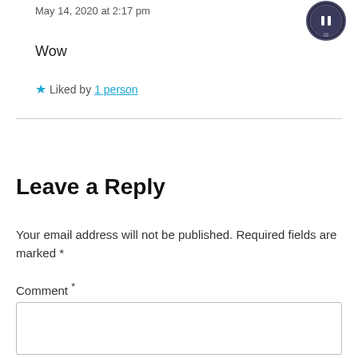May 14, 2020 at 2:17 pm
[Figure (illustration): Circular badge/avatar icon with dark border]
Wow
★ Liked by 1 person
Leave a Reply
Your email address will not be published. Required fields are marked *
Comment *